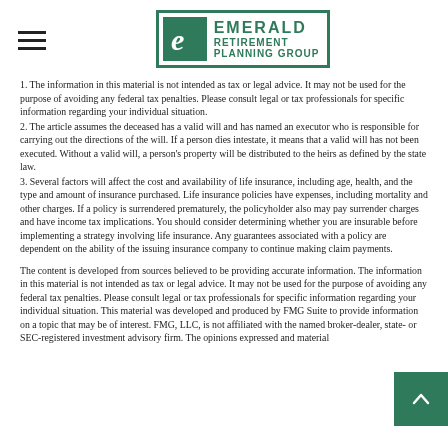[Figure (logo): Emerald Retirement Planning Group logo with green E icon and text]
1. The information in this material is not intended as tax or legal advice. It may not be used for the purpose of avoiding any federal tax penalties. Please consult legal or tax professionals for specific information regarding your individual situation.
2. The article assumes the deceased has a valid will and has named an executor who is responsible for carrying out the directions of the will. If a person dies intestate, it means that a valid will has not been executed. Without a valid will, a person's property will be distributed to the heirs as defined by the state law.
3. Several factors will affect the cost and availability of life insurance, including age, health, and the type and amount of insurance purchased. Life insurance policies have expenses, including mortality and other charges. If a policy is surrendered prematurely, the policyholder also may pay surrender charges and have income tax implications. You should consider determining whether you are insurable before implementing a strategy involving life insurance. Any guarantees associated with a policy are dependent on the ability of the issuing insurance company to continue making claim payments.
The content is developed from sources believed to be providing accurate information. The information in this material is not intended as tax or legal advice. It may not be used for the purpose of avoiding any federal tax penalties. Please consult legal or tax professionals for specific information regarding your individual situation. This material was developed and produced by FMG Suite to provide information on a topic that may be of interest. FMG, LLC, is not affiliated with the named broker-dealer, state- or SEC-registered investment advisory firm. The opinions expressed and material